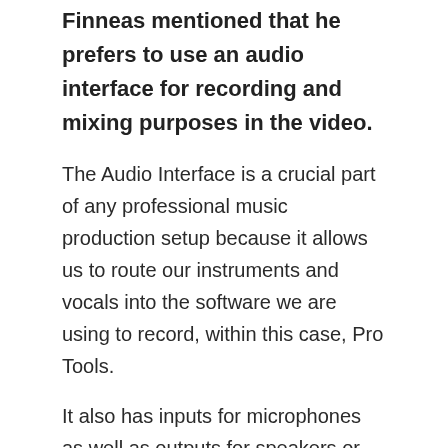Finneas mentioned that he prefers to use an audio interface for recording and mixing purposes in the video.
The Audio Interface is a crucial part of any professional music production setup because it allows us to route our instruments and vocals into the software we are using to record, within this case, Pro Tools.
It also has inputs for microphones as well as outputs for speakers or headphones.
What audio interface does Finneas